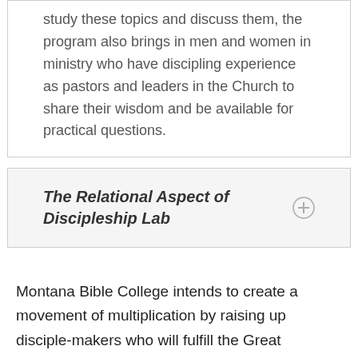study these topics and discuss them, the program also brings in men and women in ministry who have discipling experience as pastors and leaders in the Church to share their wisdom and be available for practical questions.
The Relational Aspect of Discipleship Lab
Montana Bible College intends to create a movement of multiplication by raising up disciple-makers who will fulfill the Great Commission the way Paul expressed in 2 Timothy 2:2: The things which you have heard from me in the presence of many witnesses, entrust these to faithful men who will be able to